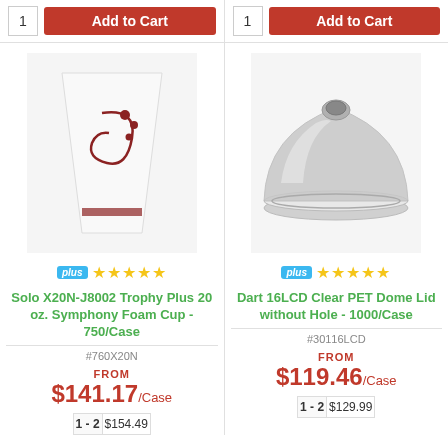1 | Add to Cart (left)
1 | Add to Cart (right)
[Figure (photo): Solo X20N-J8002 Trophy Plus 20 oz. Symphony Foam Cup with swirl design]
[Figure (photo): Dart 16LCD Clear PET Dome Lid without Hole, viewed from below]
plus ★★★★★
plus ★★★★★
Solo X20N-J8002 Trophy Plus 20 oz. Symphony Foam Cup - 750/Case
Dart 16LCD Clear PET Dome Lid without Hole - 1000/Case
#760X20N
#30116LCD
FROM $141.17/Case
FROM $119.46/Case
| Qty | Price |
| --- | --- |
| 1 - 2 | $154.49 |
| Qty | Price |
| --- | --- |
| 1 - 2 | $129.99 |